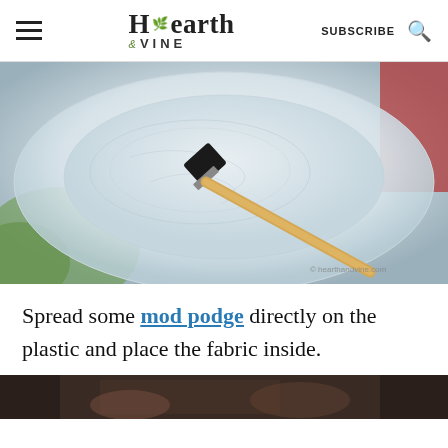Hearth & VINE | SUBSCRIBE
[Figure (photo): A foam brush with a wooden handle spreading mod podge on a clear plastic plate, viewed from above. Copyright watermark: © hearthandvine.com]
Spread some mod podge directly on the plastic and place the fabric inside.
[Figure (photo): Partial view of the bottom of the page showing a dark photo, partially cropped.]